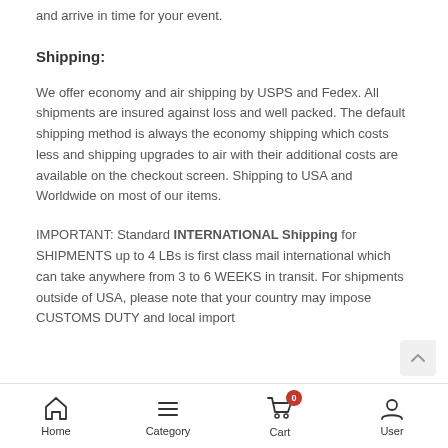and arrive in time for your event.
Shipping:
We offer economy and air shipping by USPS and Fedex. All shipments are insured against loss and well packed. The default shipping method is always the economy shipping which costs less and shipping upgrades to air with their additional costs are available on the checkout screen. Shipping to USA and Worldwide on most of our items.
IMPORTANT: Standard INTERNATIONAL Shipping for SHIPMENTS up to 4 LBs is first class mail international which can take anywhere from 3 to 6 WEEKS in transit. For shipments outside of USA, please note that your country may impose CUSTOMS DUTY and local import
Home  Category  Cart  User